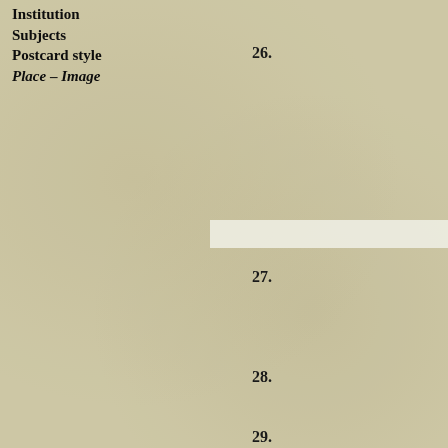Institution
Subjects
Postcard style
Place – Image
26.
27.
28.
29.